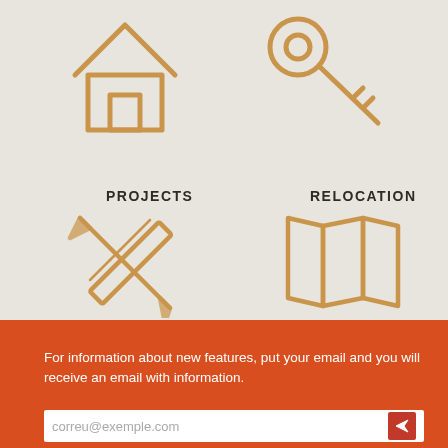[Figure (illustration): House icon (outline style) in golden/tan color, top-left area]
[Figure (illustration): Key icon (outline style) in golden/tan color, top-right area]
PROJECTS
[Figure (illustration): Crossed pencil and ruler icon in golden/tan color, below PROJECTS label]
RELOCATION
[Figure (illustration): Folded map icon in golden/tan color, below RELOCATION label]
For information about new features, put your email and you will receive an email with information.
correu@exemple.com